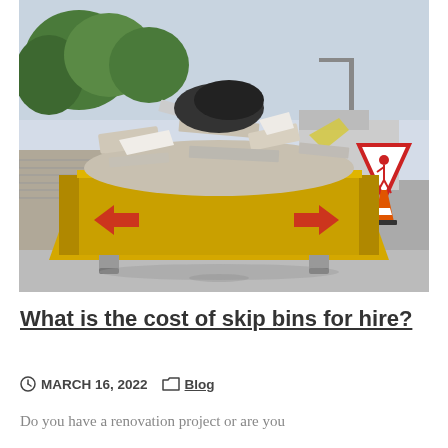[Figure (photo): A yellow skip bin overflowing with construction debris and waste, parked on a street with a road works warning sign and traffic cone visible in the background, trees and a van also visible.]
What is the cost of skip bins for hire?
MARCH 16, 2022  Blog
Do you have a renovation project or are you